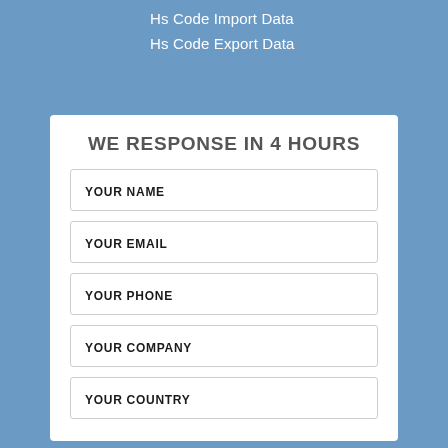Hs Code Import Data
Hs Code Export Data
WE RESPONSE IN 4 HOURS
YOUR NAME
YOUR EMAIL
YOUR PHONE
YOUR COMPANY
YOUR COUNTRY